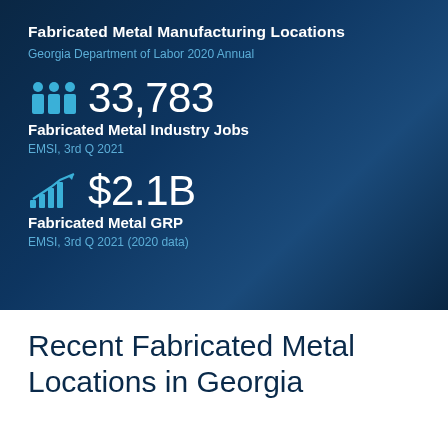Fabricated Metal Manufacturing Locations
Georgia Department of Labor 2020 Annual
33,783
Fabricated Metal Industry Jobs
EMSI, 3rd Q 2021
$2.1B
Fabricated Metal GRP
EMSI, 3rd Q 2021 (2020 data)
Recent Fabricated Metal Locations in Georgia